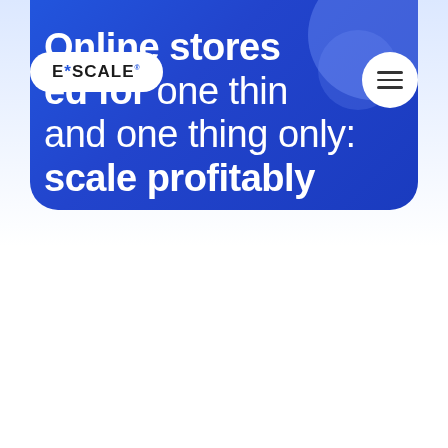[Figure (screenshot): A blue rounded card on white/light-blue background showing the E*SCALE logo pill on the left, a hamburger menu button on the right, and large white headline text: 'Online stores [designed] for one thing and one thing only: scale profitably']
Online stores [designed] for one thing and one thing only: scale profitably